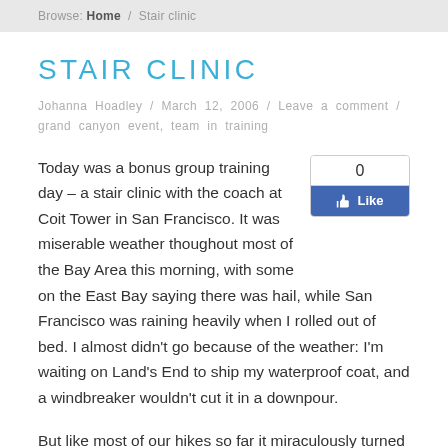Browse: Home / Stair clinic
STAIR CLINIC
Johanna Hoadley / March 12, 2006 / Leave a comment / grand canyon event, team in training
Today was a bonus group training day – a stair clinic with the coach at Coit Tower in San Francisco. It was miserable weather thoughout most of the Bay Area this morning, with some on the East Bay saying there was hail, while San Francisco was raining heavily when I rolled out of bed. I almost didn't go because of the weather: I'm waiting on Land's End to ship my waterproof coat, and a windbreaker wouldn't cut it in a downpour.
[Figure (other): Facebook Like button widget showing 0 likes]
But like most of our hikes so far it miraculously turned sunny despite the forecast and I rushed out the door just in time to arrive for the 8 a.m. meet-up. Of our whole